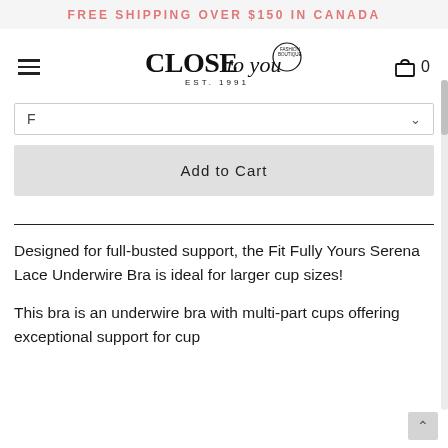FREE SHIPPING OVER $150 IN CANADA
[Figure (logo): Close To You fashion brand logo with 'CLOSE to you EST. 1991' text]
F
Add to Cart
Designed for full-busted support, the Fit Fully Yours Serena Lace Underwire Bra is ideal for larger cup sizes!
This bra is an underwire bra with multi-part cups offering exceptional support for cup